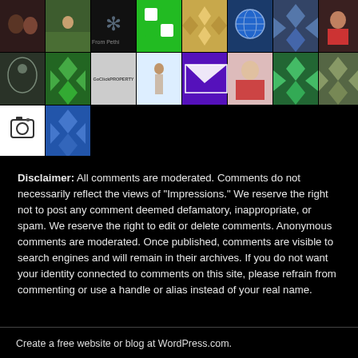[Figure (photo): Grid of 18 avatar/profile images on black background, arranged in 3 rows]
Disclaimer: All comments are moderated. Comments do not necessarily reflect the views of "Impressions." We reserve the right not to post any comment deemed defamatory, inappropriate, or spam. We reserve the right to edit or delete comments. Anonymous comments are moderated. Once published, comments are visible to search engines and will remain in their archives. If you do not want your identity connected to comments on this site, please refrain from commenting or use a handle or alias instead of your real name.
Create a free website or blog at WordPress.com.